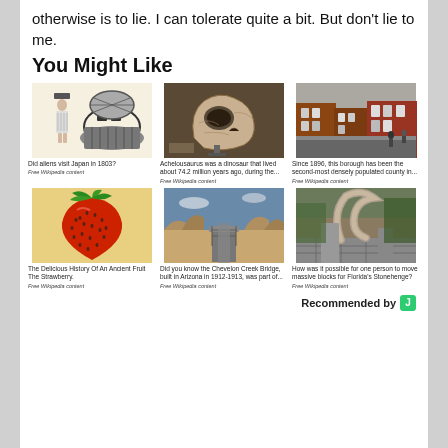otherwise is to lie. I can tolerate quite a bit. But don't lie to me.
You Might Like
[Figure (photo): Drawing of a woman and a Japanese hat/basket, black and white illustration]
Did aliens visit Japan in 1803?
Free Wikipedia content
[Figure (photo): Fossil skull of Achelousaurus dinosaur in a museum]
Achelousaurus was a dinosaur that lived about 74.2 million years ago, during the...
Free Wikipedia content
[Figure (photo): Photo of a street with brick row houses]
Since 1896, this borough has been the second-most densely populated county in...
Free Wikipedia content
[Figure (photo): Close-up photo of a large red strawberry with green leaves]
The Delicious History Of An Ancient Fruit The Strawberry.
Free Wikipedia content
[Figure (photo): Photo of Chevelon Creek Bridge in Arizona desert landscape]
Did you know the Chevelon Creek Bridge, built in Arizona in 1912-1913, was part of...
Free Wikipedia content
[Figure (photo): Photo of large stone crescent/horn sculpture at Florida Stonehenge]
How was it possible for one person to move massive blocks for Florida's Stonehenge?
Free Wikipedia content
Recommended by J